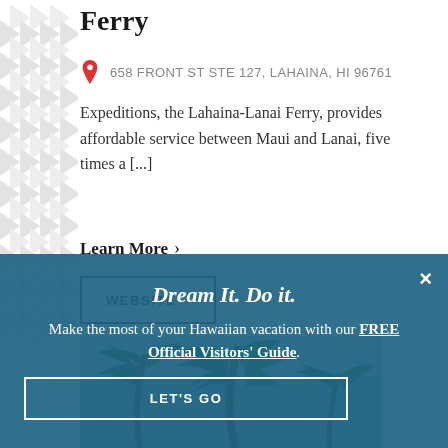Ferry
658 FRONT ST STE 127, LAHAINA, HI 96761
Expeditions, the Lahaina-Lanai Ferry, provides affordable service between Maui and Lanai, five times a [...]
Learn More ›
WEBSITE ›
[Figure (photo): Palm trees against a blue sky, tropical Hawaii scene]
BACK TO
Dream It. Do it.
Make the most of your Hawaiian vacation with our FREE Official Visitors' Guide.
LET'S GO